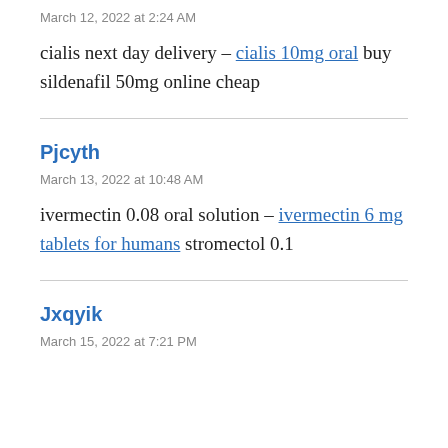March 12, 2022 at 2:24 AM
cialis next day delivery – cialis 10mg oral buy sildenafil 50mg online cheap
Pjcyth
March 13, 2022 at 10:48 AM
ivermectin 0.08 oral solution – ivermectin 6 mg tablets for humans stromectol 0.1
Jxqyik
March 15, 2022 at 7:21 PM